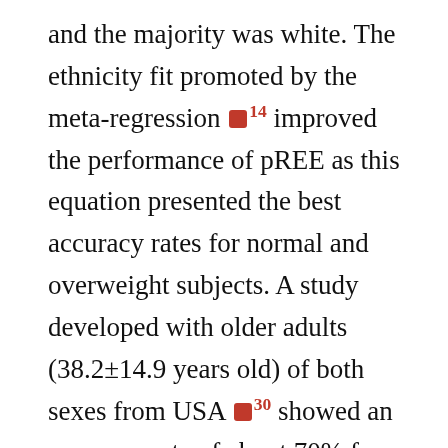and the majority was white. The ethnicity fit promoted by the meta-regression [14] improved the performance of pREE as this equation presented the best accuracy rates for normal and overweight subjects. A study developed with older adults (38.2±14.9 years old) of both sexes from USA [30] showed an accuracy rate of about 70% from this equation. As the studies used in the meta-regression are mostly derived from USA and Europe population, improved performance is explained.
The NEQ equation [15] was developed from a Mexican sample. Both equations had low accuracy rates and high bias toward